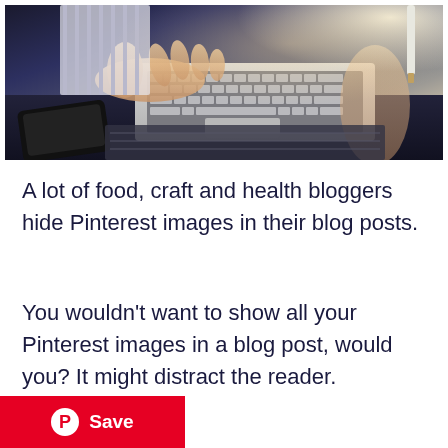[Figure (photo): Photo of two people's hands at a desk with a laptop keyboard, a smartphone, and a notebook on a dark table surface. Warm light comes from the upper right.]
A lot of food, craft and health bloggers hide Pinterest images in their blog posts.
You wouldn't want to show all your Pinterest images in a blog post, would you? It might distract the reader.